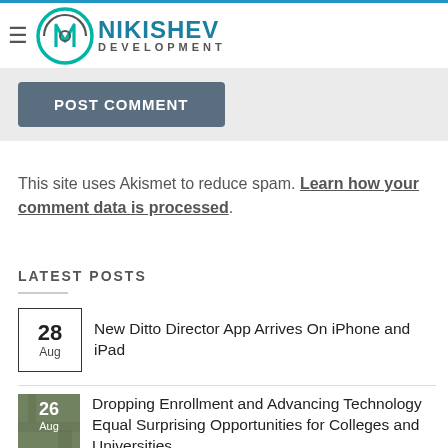NIKISHEV DEVELOPMENT
POST COMMENT
This site uses Akismet to reduce spam. Learn how your comment data is processed.
LATEST POSTS
28 Aug — New Ditto Director App Arrives On iPhone and iPad
26 Aug — Dropping Enrollment and Advancing Technology Equal Surprising Opportunities for Colleges and Universities